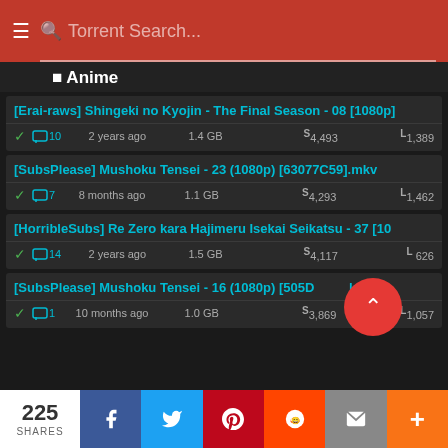Torrent Search...
Anime
[Erai-raws] Shingeki no Kyojin - The Final Season - 08 [1080p] | 2 years ago | 1.4 GB | S4,493 | L1,389
[SubsPlease] Mushoku Tensei - 23 (1080p) [63077C59].mkv | 8 months ago | 1.1 GB | S4,293 | L1,462
[HorribleSubs] Re Zero kara Hajimeru Isekai Seikatsu - 37 [10...] | 2 years ago | 1.5 GB | S4,117 | L626
[SubsPlease] Mushoku Tensei - 16 (1080p) [505D...]kv | 10 months ago | 1.0 GB | S3,869 | L1,057
225 SHARES